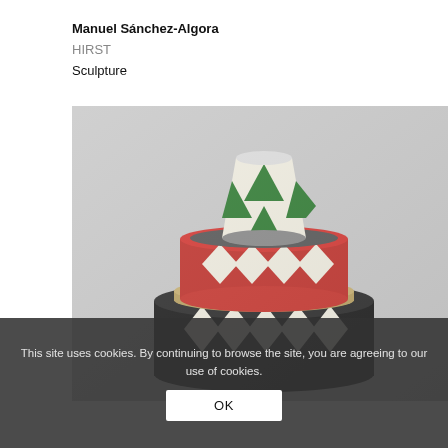Manuel Sánchez-Algora
HIRST
Sculpture
[Figure (photo): A tiered ceramic sculpture with harlequin diamond patterns in three sections: top section is green and white, middle section is red and white, bottom section is black and white, photographed against a light grey background.]
This site uses cookies. By continuing to browse the site, you are agreeing to our use of cookies.
OK